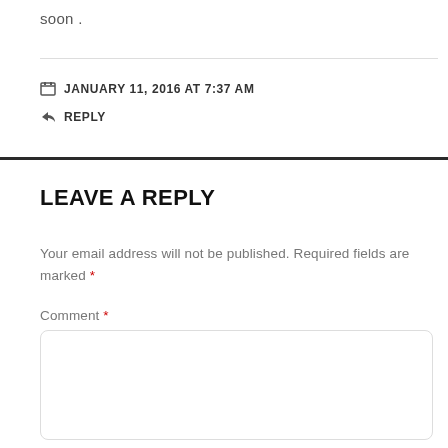soon .
JANUARY 11, 2016 AT 7:37 AM
REPLY
LEAVE A REPLY
Your email address will not be published. Required fields are marked *
Comment *